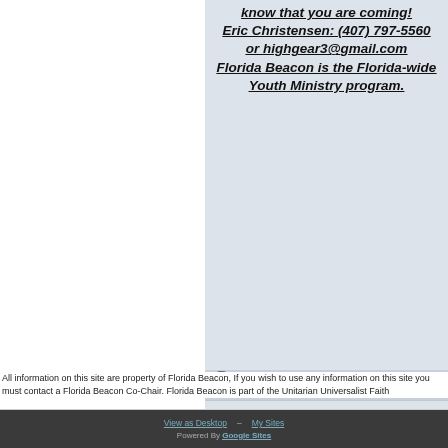know that you are coming! Eric Christensen: (407) 797-5560 or highgear3@gmail.com Florida Beacon is the Florida-wide Youth Ministry program.
[Figure (screenshot): Folder icon in file listing area]
[Figure (screenshot): PDF file row: A..w.. v.1 with download arrow]
[Figure (screenshot): File row: F..w.. v.1 with download arrow]
All information on this site are property of Florida Beacon, If you wish to use any information on this site you must contact a Florida Beacon Co-Chair. Florida Beacon is part of the Unitarian Universalist Faith
View as Desktop   My Sites   Powered By Google Sites